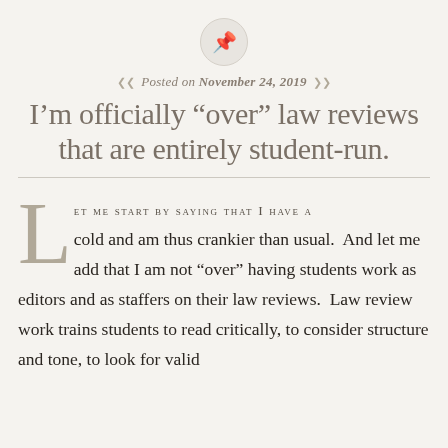[Figure (illustration): Pin/thumbtack icon inside a light circular badge]
Posted on November 24, 2019
I’m officially “over” law reviews that are entirely student-run.
Let me start by saying that I have a cold and am thus crankier than usual. And let me add that I am not “over” having students work as editors and as staffers on their law reviews. Law review work trains students to read critically, to consider structure and tone, to look for valid